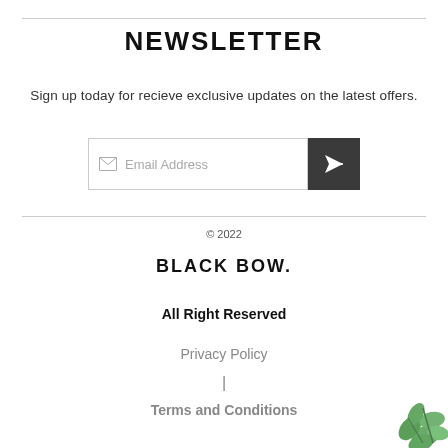NEWSLETTER
Sign up today for recieve exclusive updates on the latest offers.
[Figure (other): Email address input field with envelope icon and dark send button with paper plane icon]
© 2022
BLACK BOW.
All Right Reserved
Privacy Policy
|
Terms and Conditions
[Figure (illustration): Eucalyptus leaf branch illustration in bottom right corner]